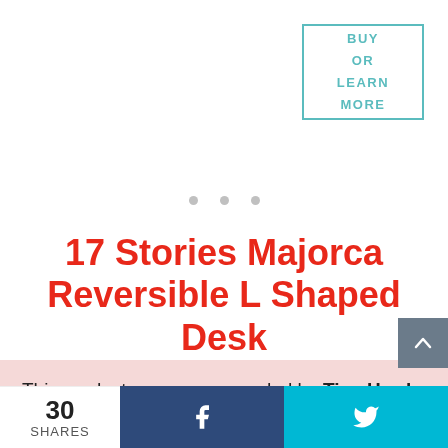[Figure (other): Buy or Learn More button box with teal border]
[Figure (other): Three dot carousel navigation indicators]
17 Stories Majorca Reversible L Shaped Desk
This product was recommended by Tina Hawk from GoodHire
[Figure (other): Scroll to top button, dark gray with upward arrow]
30 SHARES | Facebook share | Twitter share